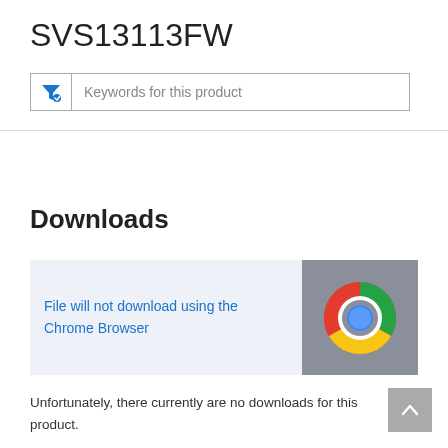SVS13113FW
Keywords for this product
Downloads
File will not download using the Chrome Browser
Unfortunately, there currently are no downloads for this product.